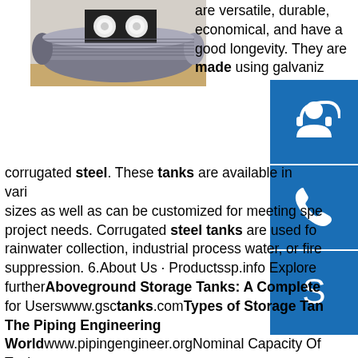[Figure (photo): A large corrugated steel tank/pipe lying on sand/ground with a black rectangular cover on top containing two white circular caps.]
[Figure (infographic): Three blue square icon buttons stacked vertically on the right side: a headset/support icon, a phone icon, and a Skype icon.]
are versatile, durable, economical, and have a good longevity. They are made using galvanized corrugated steel. These tanks are available in various sizes as well as can be customized for meeting specific project needs. Corrugated steel tanks are used for rainwater collection, industrial process water, or fire suppression. 6.About Us · Productssp.info Explore furtherAboveground Storage Tanks: A Complete Guide for Userswww.gsctanks.comTypes of Storage Tanks - The Piping Engineering Worldwww.pipingengineer.orgNominal Capacity Of Tank Or Vessel - Industrial ...www.cheresources.com20 Foot ISO Tank Containerwww.allstatecontainer.comStorage Tank Specifications | Tank Connectionwww.tankconnection.comsp.info Paint Standards and Related Coating StandardsPaint Standards and Related Coating Standards. ASTM's paint and